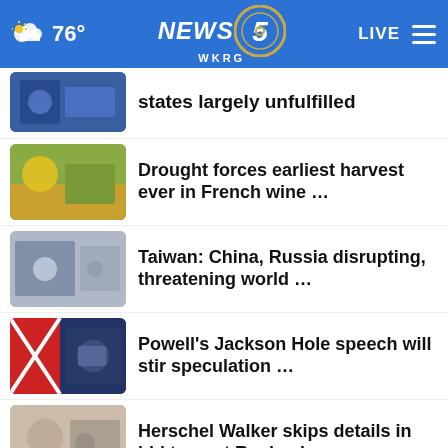NEWS 5 WKRG | LIVE | 76°
states largely unfulfilled
Drought forces earliest harvest ever in French wine …
Taiwan: China, Russia disrupting, threatening world …
Powell's Jackson Hole speech will stir speculation …
Herschel Walker skips details in bid to oust Raphael …
Trump search redacted affidavit set to be released